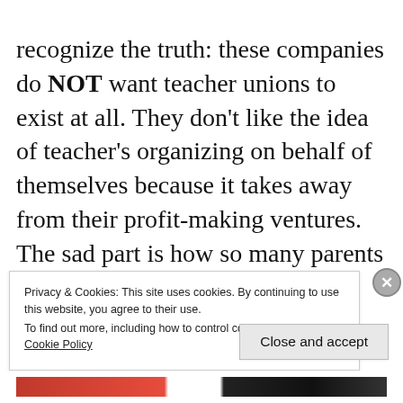recognize the truth: these companies do NOT want teacher unions to exist at all. They don't like the idea of teacher's organizing on behalf of themselves because it takes away from their profit-making ventures.  The sad part is how so many parents actually believe these horrible lies about public education.  So when unions fight against these bad policies they are immediately painted as
Privacy & Cookies: This site uses cookies. By continuing to use this website, you agree to their use.
To find out more, including how to control cookies, see here: Cookie Policy
Close and accept